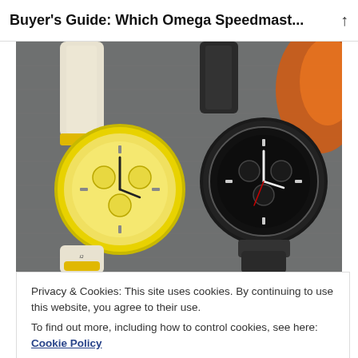Buyer's Guide: Which Omega Speedmast...
[Figure (photo): Two Omega Speedmaster / MoonSwatch watches laid out on a grey fabric surface — one with yellow dial and white NATO strap on the left, one all-black with dark strap on the right. An amber/orange decorative element is visible in the top-right corner.]
ANALYSIS: What Is Your MoonSwatch Really Worth?
[Figure (photo): Partial view of a silver/steel watch (likely an Omega Speedmaster) showing the top portion of the case and bracelet.]
Privacy & Cookies: This site uses cookies. By continuing to use this website, you agree to their use.
To find out more, including how to control cookies, see here: Cookie Policy
Close and accept